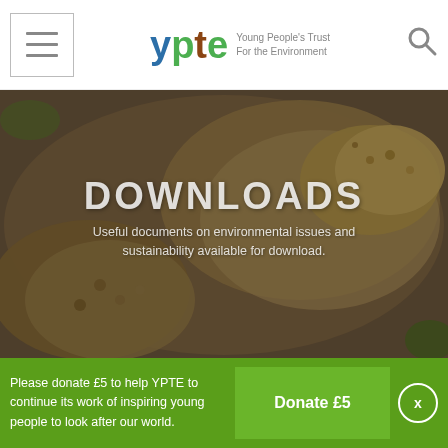YPTE – Young People's Trust For the Environment
[Figure (photo): Close-up photograph of a coiled snake with brown/tan patterned scales, forming the hero banner background]
DOWNLOADS
Useful documents on environmental issues and sustainability available for download.
Downloads
Please donate £5 to help YPTE to continue its work of inspiring young people to look after our world.